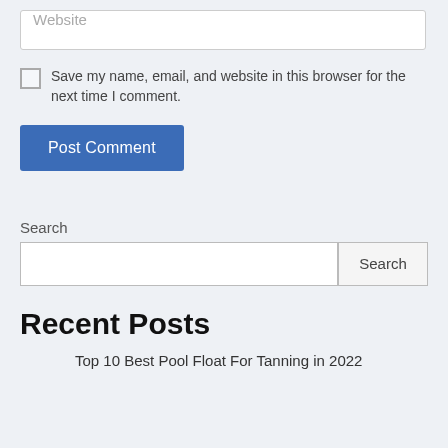[Figure (screenshot): Website input field with placeholder text 'Website']
Save my name, email, and website in this browser for the next time I comment.
[Figure (screenshot): Post Comment button in blue]
Search
[Figure (screenshot): Search input field with Search button]
Recent Posts
Top 10 Best Pool Float For Tanning in 2022